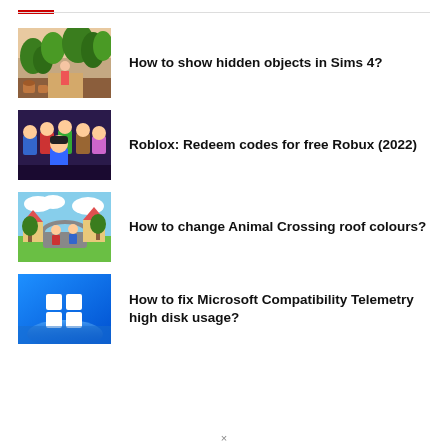How to show hidden objects in Sims 4?
Roblox: Redeem codes for free Robux (2022)
How to change Animal Crossing roof colours?
How to fix Microsoft Compatibility Telemetry high disk usage?
×